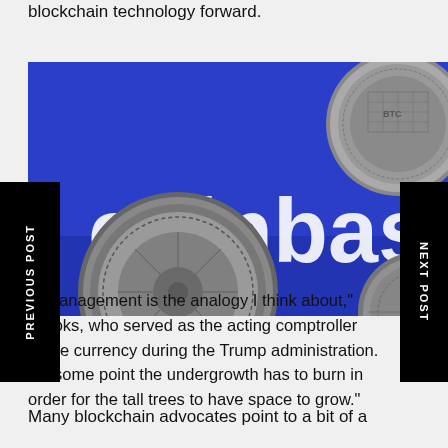blockchain technology forward.
[Figure (photo): Close-up photo of metal cryptocurrency coins on a blue Coinbase-branded background]
st Management is the analogy I think about," Brooks, who served as the acting comptroller of the currency during the Trump administration. "At some point the undergrowth has to burn in order for the tall trees to have space to grow."
Many blockchain advocates point to a bit of a